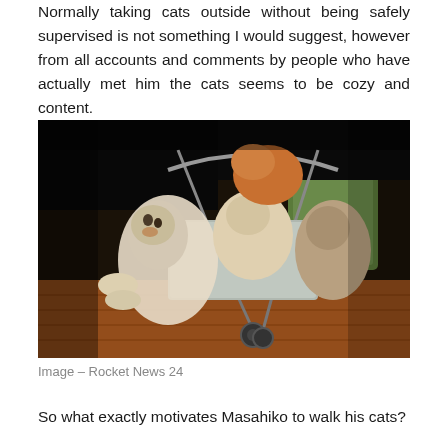Normally taking cats outside without being safely supervised is not something I would suggest, however from all accounts and comments by people who have actually met him the cats seems to be cozy and content.
[Figure (photo): Multiple fluffy cats sitting in a pet stroller on a brick-paved area. One cat is leaning out of the stroller looking up at the camera, while others are visible in the background.]
Image – Rocket News 24
So what exactly motivates Masahiko to walk his cats?